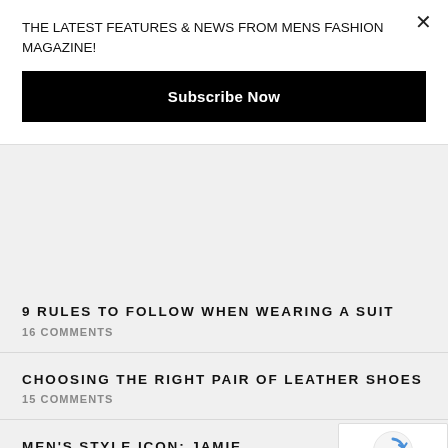THE LATEST FEATURES & NEWS FROM MENS FASHION MAGAZINE!
Subscribe Now
9 RULES TO FOLLOW WHEN WEARING A SUIT
16 COMMENTS
CHOOSING THE RIGHT PAIR OF LEATHER SHOES
15 COMMENTS
MEN'S STYLE ICON: JAMIE REDKNAPP